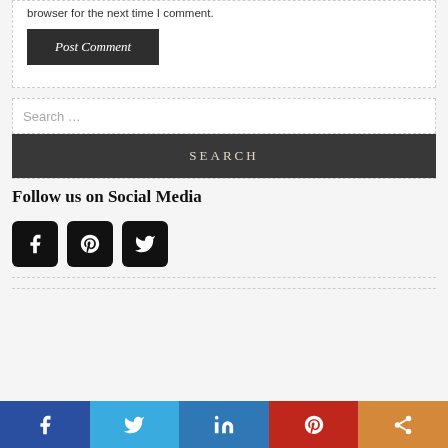browser for the next time I comment.
Post Comment
Search …
SEARCH
Follow us on Social Media
[Figure (infographic): Social media icon buttons for Facebook, Pinterest, and Twitter (black rounded squares)]
[Figure (infographic): Bottom share bar with Facebook (dark blue), Twitter (light blue), LinkedIn (blue), Pinterest (red), and share (orange) buttons]